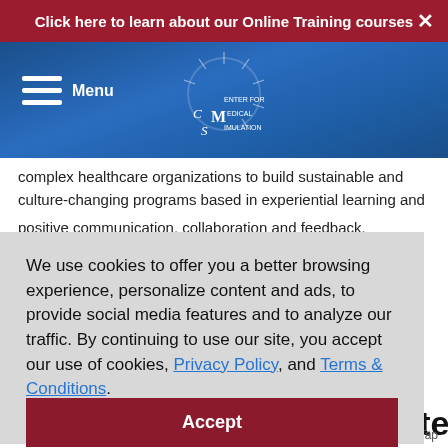Click here to learn about our Online Training courses
[Figure (logo): Center for Medical Simulation logo with menu icon and navigation bar on blue gradient background]
complex healthcare organizations to build sustainable and culture-changing programs based in experiential learning and positive communication, collaboration and feedback.
We use cookies to offer you a better browsing experience, personalize content and ads, to provide social media features and to analyze our traffic. By continuing to use our site, you accept our use of cookies, Privacy Policy, and Terms & Conditions.
Accept
You might also be interested in